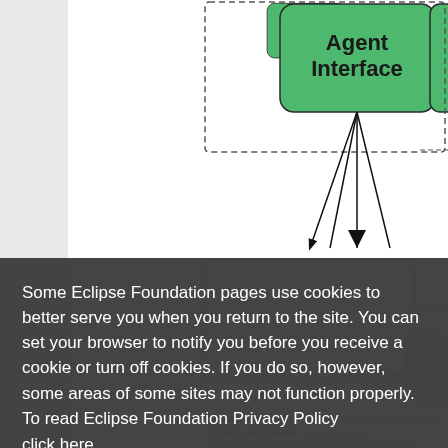[Figure (engineering-diagram): Software architecture diagram showing Agent Interface node (green rounded rectangle) at top right with dashed boxes and connector lines to various components below including File System, Database, Agent nodes (light blue boxes). Partially visible, overlaid by cookie consent banner.]
Some Eclipse Foundation pages use cookies to better serve you when you return to the site. You can set your browser to notify you before you receive a cookie or turn off cookies. If you do so, however, some areas of some sites may not function properly. To read Eclipse Foundation Privacy Policy click here.
Decline
Allow cookies